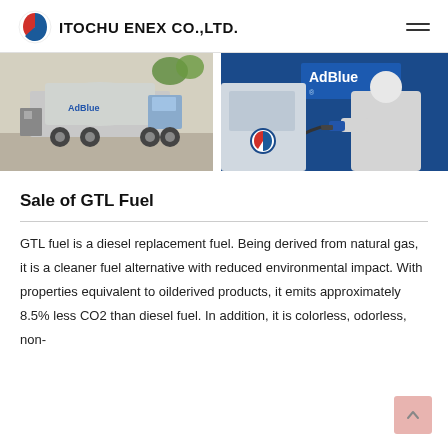ITOCHU ENEX CO.,LTD.
[Figure (photo): Two photos side by side: left shows an AdBlue tanker truck at a facility; right shows a person in protective gear refueling from an AdBlue dispenser.]
Sale of GTL Fuel
GTL fuel is a diesel replacement fuel. Being derived from natural gas, it is a cleaner fuel alternative with reduced environmental impact. With properties equivalent to oilderived products, it emits approximately 8.5% less CO2 than diesel fuel. In addition, it is colorless, odorless, non-toxic...